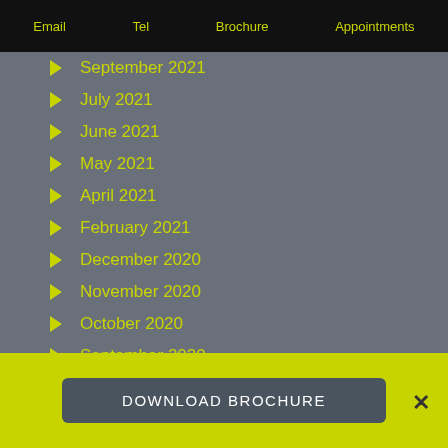Email   Tel   Brochure   Appointments
September 2021
July 2021
June 2021
May 2021
April 2021
February 2021
December 2020
November 2020
October 2020
September 2020
DOWNLOAD BROCHURE